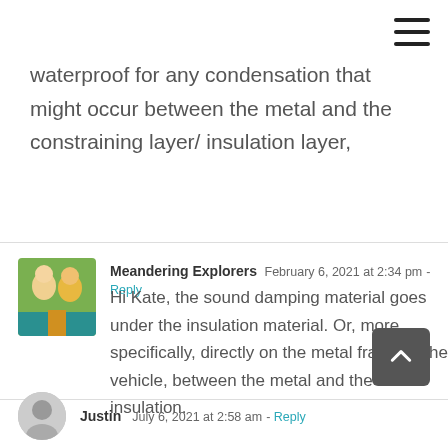waterproof for any condensation that might occur between the metal and the constraining layer/ insulation layer,
Meandering Explorers  February 6, 2021 at 2:34 pm - Reply
Hi Kate, the sound damping material goes under the insulation material. Or, more specifically, directly on the metal frame of the vehicle, between the metal and the insulation.
Justin  July 6, 2021 at 2:58 am - Reply